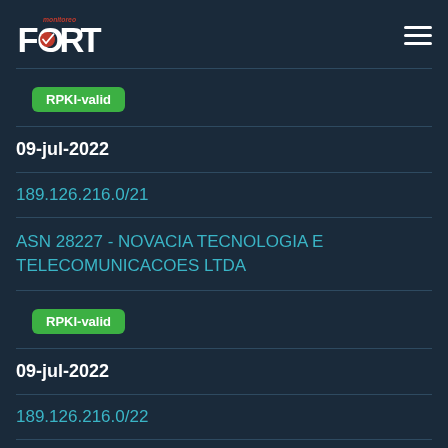Monitoreo FORT
RPKI-valid
09-jul-2022
189.126.216.0/21
ASN 28227 - NOVACIA TECNOLOGIA E TELECOMUNICACOES LTDA
RPKI-valid
09-jul-2022
189.126.216.0/22
ASN 28227 - NOVACIA TECNOLOGIA E